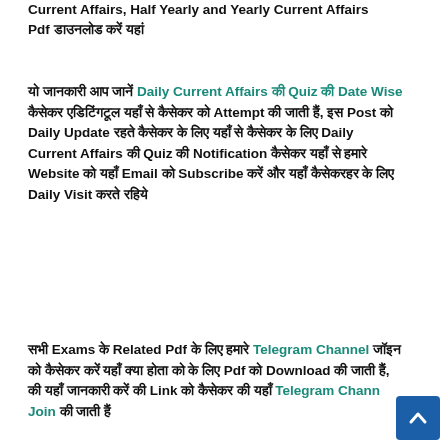Current Affairs, Half Yearly and Yearly Current Affairs Pdf डाउनलोड करें यहां
यो जानकारी आप जानें Daily Current Affairs की Quiz की Date Wise कैसेकर एडिटिंगटूल यहाँ से कैसेकर को Attempt की जाती हैं, इस Post को Daily Update रहते कैसेकर के लिए यहाँ से कैसेकर के लिए Daily Current Affairs की Quiz की Notification कैसेकर यहाँ से हमारे Website को यहाँ Email को Subscribe करें और यहाँ कैसेकरहर के लिए Daily Visit करते रहिये
सभी Exams के Related Pdf के लिए हमारे Telegram Channel जॉइन को कैसेकर करें यहाँ क्या होता को के लिए Pdf को Download की जाती हैं, की यहाँ जानकारी करें की Link को कैसेकर की यहाँ Telegram Channel Join की जाती हैं